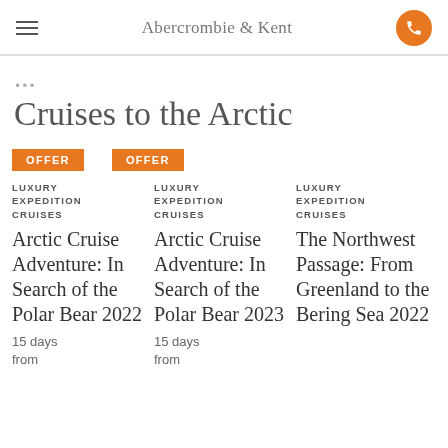Abercrombie & Kent
Cruises to the Arctic
OFFER OFFER
LUXURY EXPEDITION CRUISES — Arctic Cruise Adventure: In Search of the Polar Bear 2022 — 15 days from
LUXURY EXPEDITION CRUISES — Arctic Cruise Adventure: In Search of the Polar Bear 2023 — 15 days from
LUXURY EXPEDITION CRUISES — The Northwest Passage: From Greenland to the Bering Sea 2022